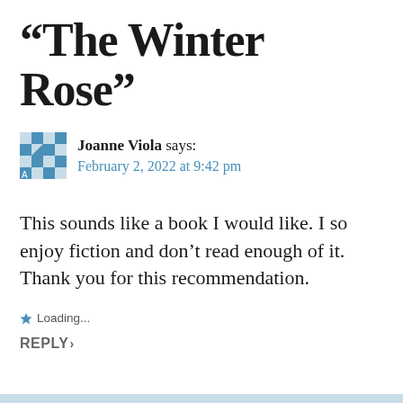“The Winter Rose”
Joanne Viola says:
February 2, 2022 at 9:42 pm
This sounds like a book I would like. I so enjoy fiction and don’t read enough of it. Thank you for this recommendation.
Loading...
REPLY›